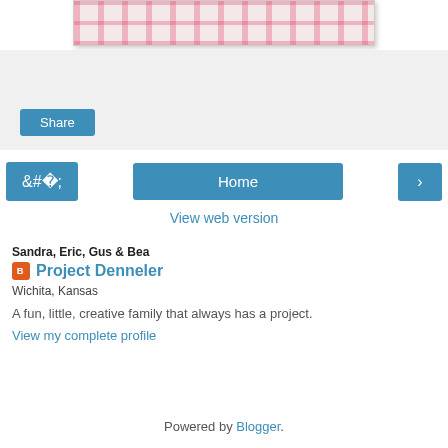[Figure (photo): Photo of items arranged in a grid pattern with pink ribbons on a bed, viewed from above]
[Figure (screenshot): Share button on a light gray background]
[Figure (screenshot): Navigation bar with left arrow button, Home button, and right arrow button]
View web version
Sandra, Eric, Gus & Bea
Project Denneler
Wichita, Kansas
A fun, little, creative family that always has a project.
View my complete profile
Powered by Blogger.